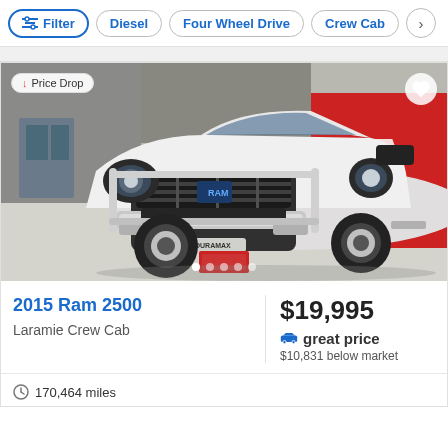Filter | Diesel | Four Wheel Drive | Crew Cab
[Figure (photo): White 2015 Ram 2500 pickup truck photographed head-on in a dealership showroom with red background signage. Price Drop badge visible top-left, heart/favorite icon top-right, carousel dots at bottom.]
2015 Ram 2500
Laramie Crew Cab
$19,995
great price
$10,831 below market
170,464 miles